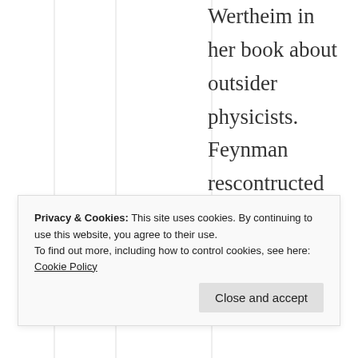Wertheim in her book about outsider physicists. Feynman rescontructed the proof when preparing a special
Privacy & Cookies: This site uses cookies. By continuing to use this website, you agree to their use.
To find out more, including how to control cookies, see here: Cookie Policy
Close and accept